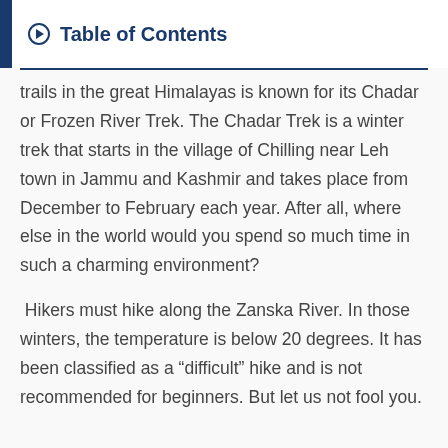Table of Contents
trails in the great Himalayas is known for its Chadar or Frozen River Trek. The Chadar Trek is a winter trek that starts in the village of Chilling near Leh town in Jammu and Kashmir and takes place from December to February each year. After all, where else in the world would you spend so much time in such a charming environment?
Hikers must hike along the Zanska River. In those winters, the temperature is below 20 degrees. It has been classified as a “difficult” hike and is not recommended for beginners. But let us not fool you.